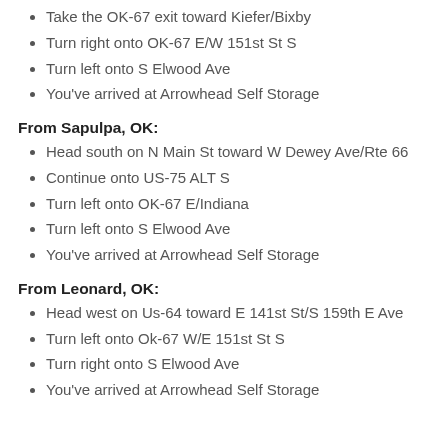Take the OK-67 exit toward Kiefer/Bixby
Turn right onto OK-67 E/W 151st St S
Turn left onto S Elwood Ave
You've arrived at Arrowhead Self Storage
From Sapulpa, OK:
Head south on N Main St toward W Dewey Ave/Rte 66
Continue onto US-75 ALT S
Turn left onto OK-67 E/Indiana
Turn left onto S Elwood Ave
You've arrived at Arrowhead Self Storage
From Leonard, OK:
Head west on Us-64 toward E 141st St/S 159th E Ave
Turn left onto Ok-67 W/E 151st St S
Turn right onto S Elwood Ave
You've arrived at Arrowhead Self Storage